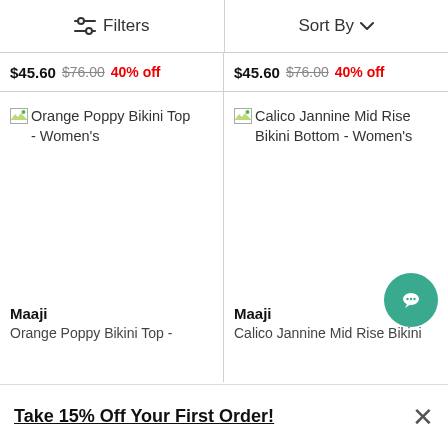Filters   Sort By
$45.60 $76.00 40% off   $45.60 $76.00 40% off
[Figure (screenshot): Broken image placeholder for Orange Poppy Bikini Top - Women's product photo]
[Figure (screenshot): Broken image placeholder for Calico Jannine Mid Rise Bikini Bottom - Women's product photo]
Maaji
Orange Poppy Bikini Top -
Maaji
Calico Jannine Mid Rise Bikini
Take 15% Off Your First Order!